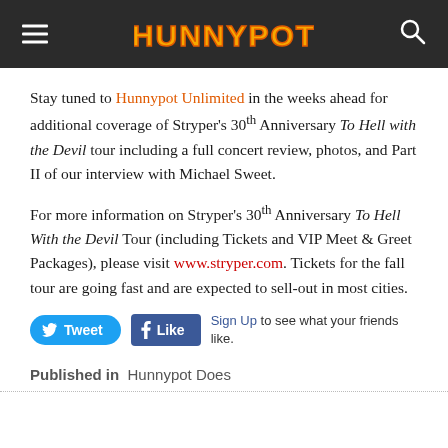HUNNYPOT (header bar with logo, menu, search)
Stay tuned to Hunnypot Unlimited in the weeks ahead for additional coverage of Stryper's 30th Anniversary To Hell with the Devil tour including a full concert review, photos, and Part II of our interview with Michael Sweet.
For more information on Stryper's 30th Anniversary To Hell With the Devil Tour (including Tickets and VIP Meet & Greet Packages), please visit www.stryper.com. Tickets for the fall tour are going fast and are expected to sell-out in most cities.
Tweet  Like  Sign Up to see what your friends like.
Published in  Hunnypot Does